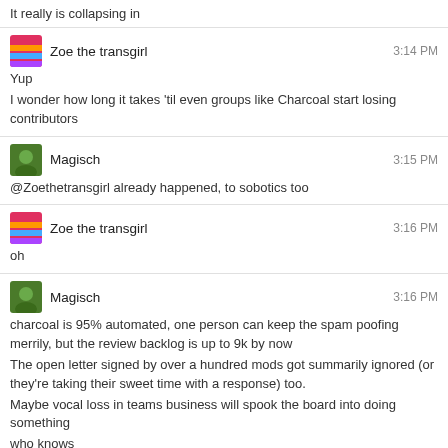It really is collapsing in
Zoe the transgirl | 3:14 PM
Yup
I wonder how long it takes 'til even groups like Charcoal start losing contributors
Magisch | 3:15 PM
@Zoethetransgirl already happened, to sobotics too
Zoe the transgirl | 3:16 PM
oh
Magisch | 3:16 PM
charcoal is 95% automated, one person can keep the spam poofing merrily, but the review backlog is up to 9k by now
The open letter signed by over a hundred mods got summarily ignored (or they're taking their sweet time with a response) too.
Maybe vocal loss in teams business will spook the board into doing something
who knows
Erik A | 3:17 PM
They indicated they would reply to the open letter, right? Just in the usual 6 to 8?
Sébastien Renauld | 3:21 PM
Ehm, no? They indicated they'd consider it
Gimby | 3:25 PM
I don't really see how any further response will stop the exodus though, it's begun and